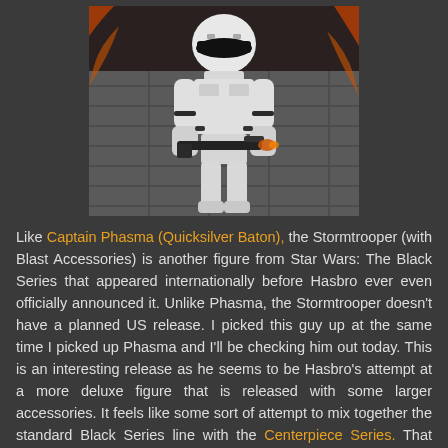[Figure (photo): Photo of a Star Wars Stormtrooper (with Blast Accessories) action figure holding a blaster rifle, posed in front of a stone/concrete-colored backdrop with orange/flame elements on the sides.]
Like Captain Phasma (Quicksilver Baton), the Stormtrooper (with Blast Accessories) is another figure from Star Wars: The Black Series that appeared internationally before Hasbro ever even officially announced it. Unlike Phasma, the Stormtrooper doesn't have a planned US release. I picked this guy up at the same time I picked up Phasma and I'll be checking him out today. This is an interesting release as he seems to be Hasbro's attempt at a more deluxe figure that is released with some larger accessories. It feels like some sort of attempt to mix together the standard Black Series line with the Centerpiece Series. That could have worked but this figure ended up being a bit plane. Let's check out this